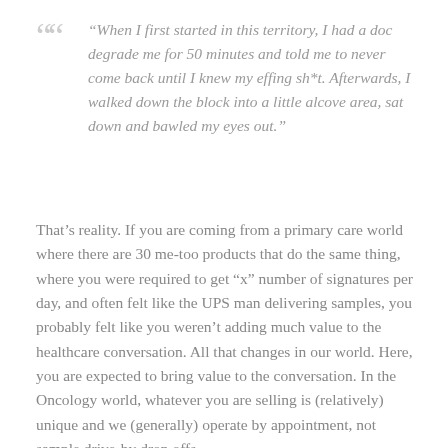“When I first started in this territory, I had a doc degrade me for 50 minutes and told me to never come back until I knew my effing sh*t. Afterwards, I walked down the block into a little alcove area, sat down and bawled my eyes out.”
That’s reality. If you are coming from a primary care world where there are 30 me-too products that do the same thing, where you were required to get “x” number of signatures per day, and often felt like the UPS man delivering samples, you probably felt like you weren’t adding much value to the healthcare conversation. All that changes in our world. Here, you are expected to bring value to the conversation. In the Oncology world, whatever you are selling is (relatively) unique and we (generally) operate by appointment, not sample drive-by drop offs.